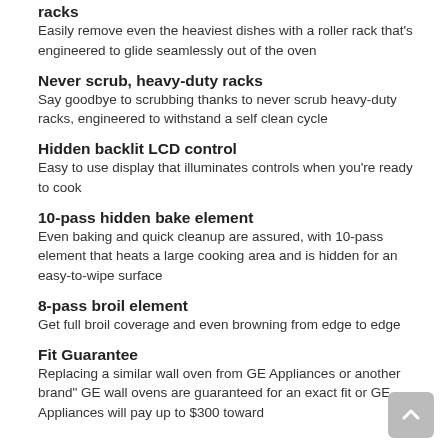racks
Easily remove even the heaviest dishes with a roller rack that's engineered to glide seamlessly out of the oven
Never scrub, heavy-duty racks
Say goodbye to scrubbing thanks to never scrub heavy-duty racks, engineered to withstand a self clean cycle
Hidden backlit LCD control
Easy to use display that illuminates controls when you're ready to cook
10-pass hidden bake element
Even baking and quick cleanup are assured, with 10-pass element that heats a large cooking area and is hidden for an easy-to-wipe surface
8-pass broil element
Get full broil coverage and even browning from edge to edge
Fit Guarantee
Replacing a similar wall oven from GE Appliances or another brand" GE wall ovens are guaranteed for an exact fit or GE Appliances will pay up to $300 toward